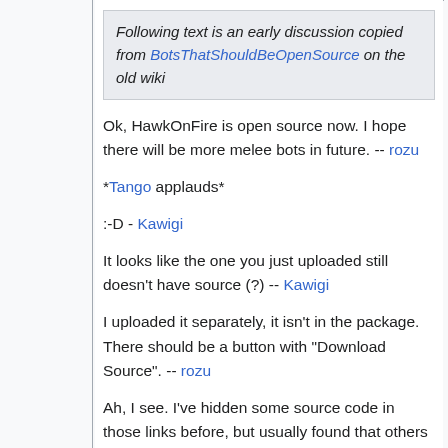Following text is an early discussion copied from BotsThatShouldBeOpenSource on the old wiki
Ok, HawkOnFire is open source now. I hope there will be more melee bots in future. -- rozu
*Tango applauds*
:-D - Kawigi
It looks like the one you just uploaded still doesn't have source (?) -- Kawigi
I uploaded it separately, it isn't in the package. There should be a button with "Download Source". -- rozu
Ah, I see. I've hidden some source code in those links before, but usually found that others don't. I hope you're ready to